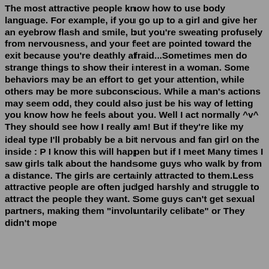The most attractive people know how to use body language. For example, if you go up to a girl and give her an eyebrow flash and smile, but you're sweating profusely from nervousness, and your feet are pointed toward the exit because you're deathly afraid...Sometimes men do strange things to show their interest in a woman. Some behaviors may be an effort to get your attention, while others may be more subconscious. While a man's actions may seem odd, they could also just be his way of letting you know how he feels about you. Well I act normally ^v^ They should see how I really am! But if they're like my ideal type I'll probably be a bit nervous and fan girl on the inside : P I know this will happen but if I meet Many times I saw girls talk about the handsome guys who walk by from a distance. The girls are certainly attracted to them.Less attractive people are often judged harshly and struggle to attract the people they want. Some guys can't get sexual partners, making them "involuntarily celibate" or They didn't mope